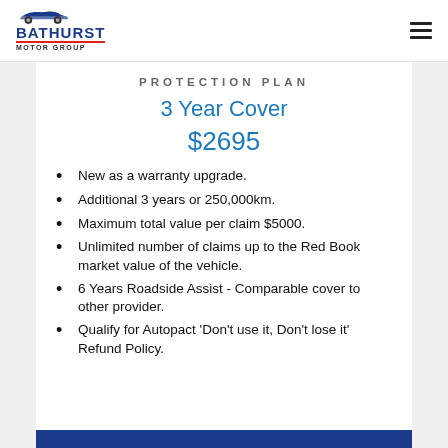[Figure (logo): Bathurst Motor Group logo with car silhouette, blue text and red underline]
PROTECTION PLAN
3 Year Cover
$2695
New as a warranty upgrade.
Additional 3 years or 250,000km.
Maximum total value per claim $5000.
Unlimited number of claims up to the Red Book market value of the vehicle.
6 Years Roadside Assist - Comparable cover to other provider.
Qualify for Autopact 'Don't use it, Don't lose it' Refund Policy.